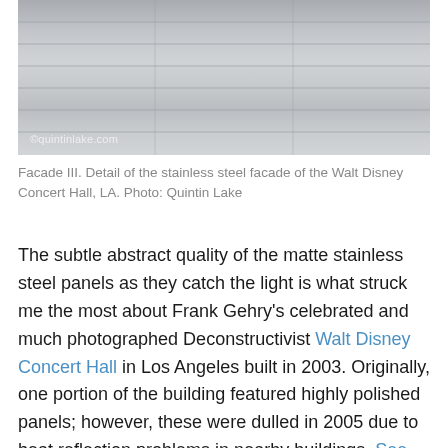[Figure (photo): Close-up detail photo of the matte stainless steel panel facade of the Walt Disney Concert Hall, LA. Image has a watermark reading '©quintinlake.com'.]
Facade III. Detail of the stainless steel facade of the Walt Disney Concert Hall, LA. Photo: Quintin Lake
The subtle abstract quality of the matte stainless steel panels as they catch the light is what struck me the most about Frank Gehry's celebrated and much photographed Deconstructivist Walt Disney Concert Hall in Los Angeles built in 2003. Originally, one portion of the building featured highly polished panels; however, these were dulled in 2005 due to heat reflection problems in nearby buildings. See images of the Gehry House, LA from 1978 where his experiments with deconstructivism in